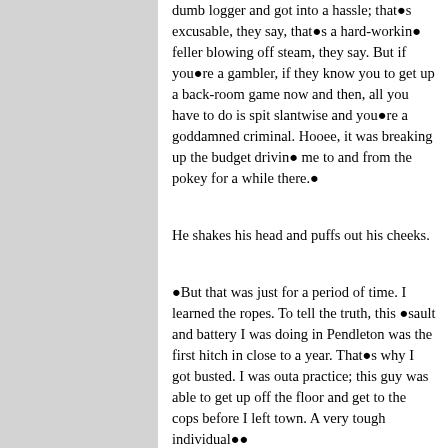dumb logger and got into a hassle; that■s excusable, they say, that■s a hard-workin■ feller blowing off steam, they say. But if you■re a gambler, if they know you to get up a back-room game now and then, all you have to do is spit slantwise and you■re a goddamned criminal. Hooee, it was breaking up the budget drivin■ me to and from the pokey for a while there.■
He shakes his head and puffs out his cheeks.
■But that was just for a period of time. I learned the ropes. To tell the truth, this ■sault and battery I was doing in Pendleton was the first hitch in close to a year. That■s why I got busted. I was outa practice; this guy was able to get up off the floor and get to the cops before I left town. A very tough individual■■